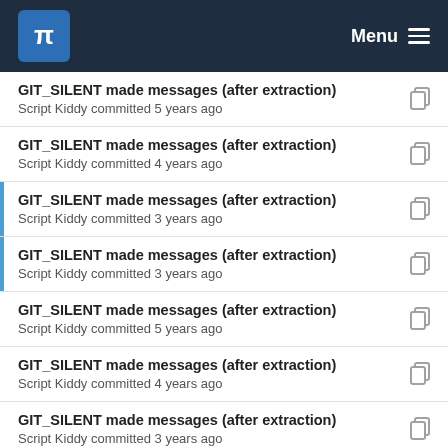KDE Menu
GIT_SILENT made messages (after extraction)
Script Kiddy committed 5 years ago
GIT_SILENT made messages (after extraction)
Script Kiddy committed 4 years ago
GIT_SILENT made messages (after extraction)
Script Kiddy committed 3 years ago
GIT_SILENT made messages (after extraction)
Script Kiddy committed 3 years ago
GIT_SILENT made messages (after extraction)
Script Kiddy committed 5 years ago
GIT_SILENT made messages (after extraction)
Script Kiddy committed 4 years ago
GIT_SILENT made messages (after extraction)
Script Kiddy committed 3 years ago
GIT_SILENT made messages (after extraction)
Script Kiddy committed 4 years ago